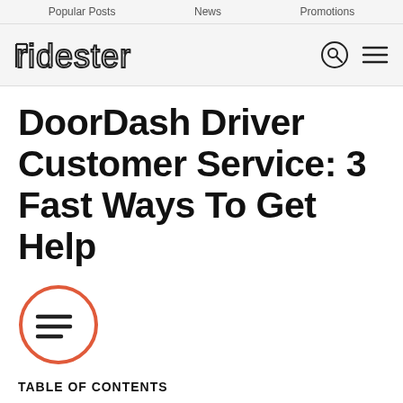Popular Posts   News   Promotions
[Figure (logo): Ridester logo with stylized text and search/menu icons]
DoorDash Driver Customer Service: 3 Fast Ways To Get Help
[Figure (illustration): Orange circle icon with three horizontal lines (table of contents icon)]
TABLE OF CONTENTS